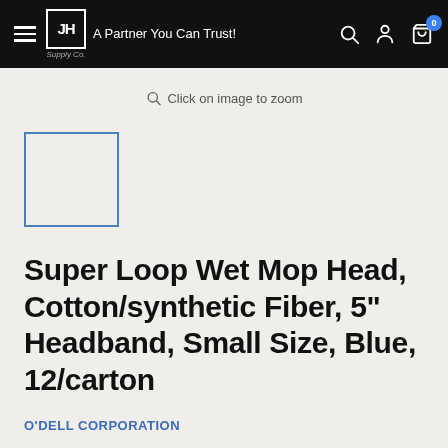JH Supply Co — A Partner You Can Trust!
Click on image to zoom
[Figure (other): Small thumbnail placeholder box with blue border for product image]
Super Loop Wet Mop Head, Cotton/synthetic Fiber, 5" Headband, Small Size, Blue, 12/carton
O'DELL CORPORATION